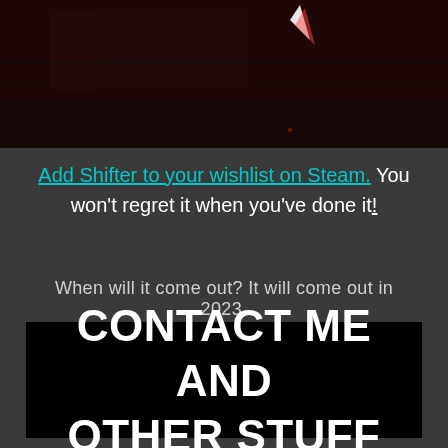[Figure (screenshot): Dark game screenshot showing a dimly lit scene with a white/red glowing element on a dark red background]
Add Shifter to your wishlist on Steam. You won't regret it when you've done it!
When will it come out? It will come out in 2023.
CONTACT ME AND OTHER STUFF